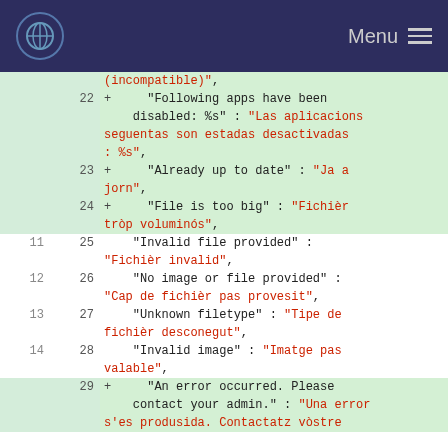Menu
[Figure (screenshot): Code diff view showing added and unchanged lines of a JSON translation file with Occitan (oc) language strings. Lines 22-24 and 29 are added (green background with + marker), lines 11-14 / 25-28 are unchanged (white background).]